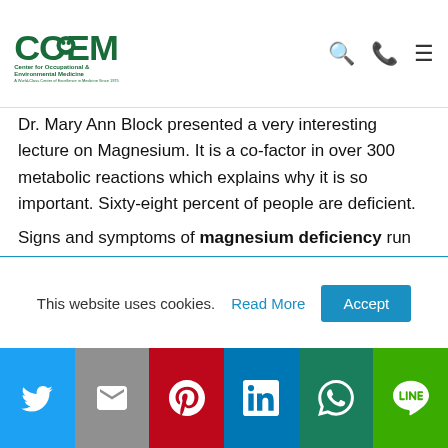Center for Occupational & Environmental Medicine — COEM logo with search, phone, and menu icons
Dr. Mary Ann Block presented a very interesting lecture on Magnesium. It is a co-factor in over 300 metabolic reactions which explains why it is so important. Sixty-eight percent of people are deficient.
Signs and symptoms of magnesium deficiency run from A to Z and include:
Hypertension
This website uses cookies. Read More Accept